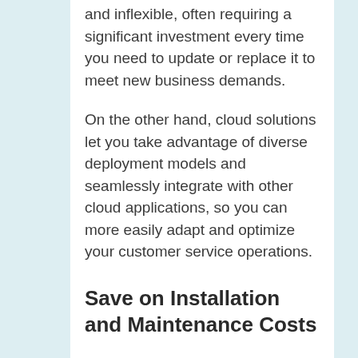and inflexible, often requiring a significant investment every time you need to update or replace it to meet new business demands.
On the other hand, cloud solutions let you take advantage of diverse deployment models and seamlessly integrate with other cloud applications, so you can more easily adapt and optimize your customer service operations.
Save on Installation and Maintenance Costs